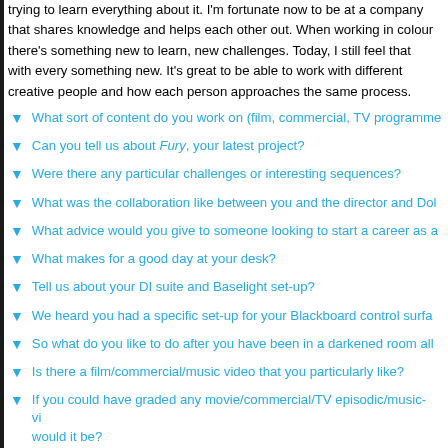trying to learn everything about it. I'm fortunate now to be at a company that shares knowledge and helps each other out. When working in colour there's always something new to learn, new challenges. Today, I still feel that with every job there's something new. It's great to be able to work with different creative people and see how each person approaches the same process.
What sort of content do you work on (film, commercial, TV programme...
Can you tell us about Fury, your latest project?
Were there any particular challenges or interesting sequences?
What was the collaboration like between you and the director and Dol...
What advice would you give to someone looking to start a career as a...
What makes for a good day at your desk?
Tell us about your DI suite and Baselight set-up?
We heard you had a specific set-up for your Blackboard control surfa...
So what do you like to do after you have been in a darkened room all...
Is there a film/commercial/music video that you particularly like?
If you could have graded any movie/commercial/TV episodic/music-vi... would it be?